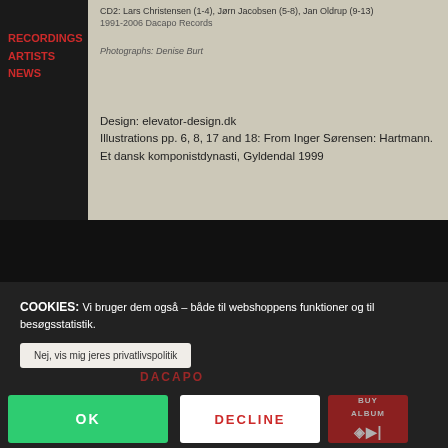RECORDINGS
ARTISTS
NEWS
CD2: Lars Christensen (1-4), Jørn Jacobsen (5-8), Jan Oldrup (9-13)
1991-2006 Dacapo Records
Photographs: Denise Burt
Design: elevator-design.dk
Illustrations pp. 6, 8, 17 and 18: From Inger Sørensen: Hartmann. Et dansk komponistdynasti, Gyldendal 1999
COOKIES: Vi bruger dem også – både til webshoppens funktioner og til besøgsstatistik.
Nej, vis mig jeres privatlivspolitik
OK
DECLINE
BUY ALBUM